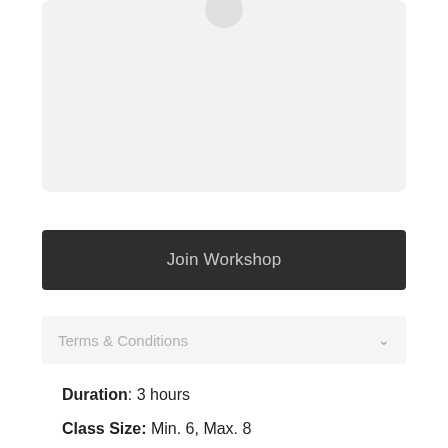[Figure (photo): Light gray rounded rectangle placeholder image area with a small circle icon at the top center, partially cropped at the top of the page.]
Join Workshop
Terms & Conditions
Duration: 3 hours
Class Size: Min. 6, Max. 8